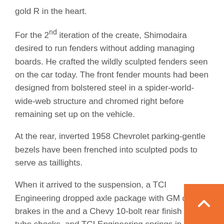gold R in the heart.
For the 2nd iteration of the create, Shimodaira desired to run fenders without adding managing boards. He crafted the wildly sculpted fenders seen on the car today. The front fender mounts had been designed from bolstered steel in a spider-world-wide-web structure and chromed right before remaining set up on the vehicle.
At the rear, inverted 1958 Chevrolet parking-gentle bezels have been frenched into sculpted pods to serve as taillights.
When it arrived to the suspension, a TCI Engineering dropped axle package with GM disc brakes in the and a Chevy 10-bolt rear finish with tube shocks, and TCI Engineering springs in the rear had been installed.